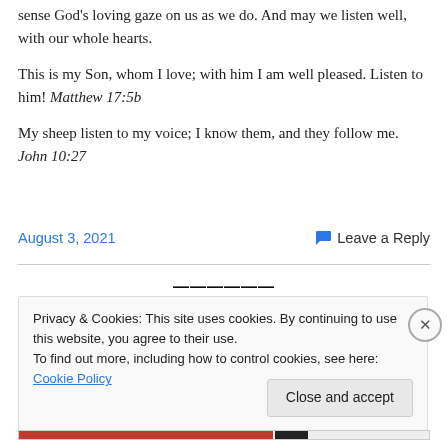sense God's loving gaze on us as we do. And may we listen well, with our whole hearts.
This is my Son, whom I love; with him I am well pleased. Listen to him! Matthew 17:5b
My sheep listen to my voice; I know them, and they follow me. John 10:27
August 3, 2021
Leave a Reply
Privacy & Cookies: This site uses cookies. By continuing to use this website, you agree to their use. To find out more, including how to control cookies, see here: Cookie Policy
Close and accept